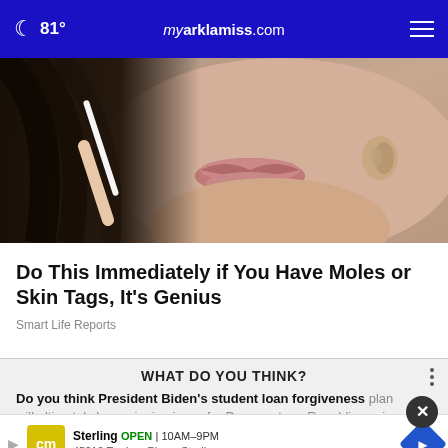81° myarklamiss.com
[Figure (photo): Close-up of a woman's face showing lips, dark hair, and hand holding a white object near the face]
Do This Immediately if You Have Moles or Skin Tags, It's Genius
Smart Life Reports
WHAT DO YOU THINK?
Do you think President Biden's student loan forgiveness plan will ultimately be a winning issue for Democrats or Republicans in the
[Figure (other): Advertisement banner: Sterling business listing with logo, OPEN 10AM-9PM, 45210 Towlern Place, Sterling]